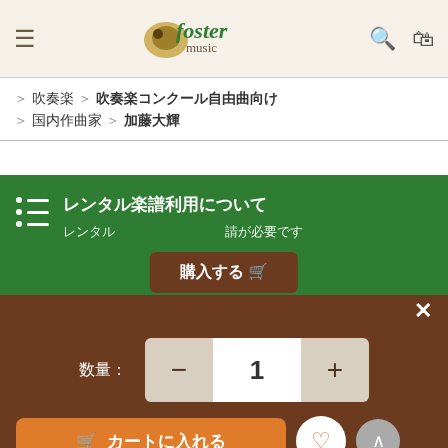Foster Music - navigation header
＞ 吹奏楽 ＞ 吹奏楽コンクール自由曲向け ＞ 国内作曲家 ＞ 加藤大輝
レンタル楽譜利用について
レンタル楽譜のご利用には申請が必要です
購入する
数量：1
カートに入れる